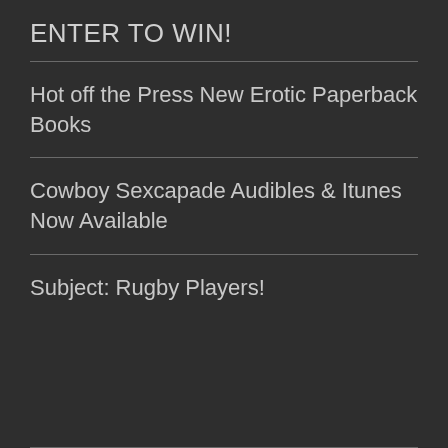ENTER TO WIN!
Hot off the Press New Erotic Paperback Books
Cowboy Sexcapade Audibles & Itunes Now Available
Subject: Rugby Players!